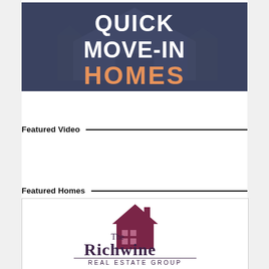[Figure (illustration): Dark blue/navy banner image with a house silhouette in the background. Large white bold text reads 'QUICK MOVE-IN' and large orange bold text reads 'HOMES' below it.]
Featured Video
Featured Homes
[Figure (logo): The Richwine Real Estate Group logo. Features a dark maroon/purple house icon with a chimney and windows at the top. Below is the text 'The Richwine' in serif font, with 'REAL ESTATE GROUP' in smaller caps at the bottom, and horizontal lines flanking the text.]